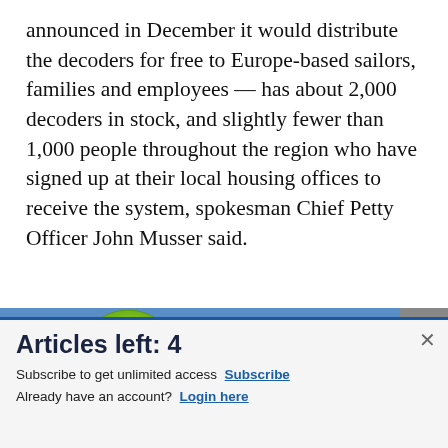announced in December it would distribute the decoders for free to Europe-based sailors, families and employees — has about 2,000 decoders in stock, and slightly fewer than 1,000 people throughout the region who have signed up at their local housing offices to receive the system, spokesman Chief Petty Officer John Musser said.
[Figure (screenshot): Advertisement banner for Commissary Click2Go — dark blue background with green circular logo containing 'CLICK 2GO' text, and a Commissary badge logo on the right. Bottom shows partial text 'order groceries | PICK UP' with a chevron arrow on the far right.]
Articles left: 4
Subscribe to get unlimited access Subscribe
Already have an account? Login here